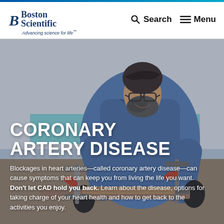[Figure (logo): Boston Scientific logo with tagline 'Advancing science for life']
Search   Menu
[Figure (photo): Middle-aged bearded man with glasses wearing a denim shirt, working with clamps on a workbench, smiling downward]
CORONARY ARTERY DISEASE
Blockages in heart arteries—called coronary artery disease—can cause symptoms that can keep you from living the life you want. Don't let CAD hold you back. Learn about the disease, options for taking charge of your heart health and how to get back to the activities you enjoy.